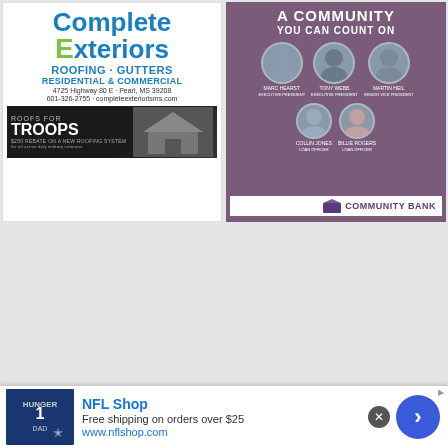[Figure (advertisement): Complete Exteriors ad — Roofing & Gutters, Residential & Commercial, 4725 Highway 80 E, Pearl MS 39208, 601-326-2755, completeexteriorisms.com, Roofs for Troops promo]
SPONSOR
[Figure (advertisement): Community Bank ad — A Community You Can Count On, photos of 5 staff members: Marc Hearst, Tony Webb, Martin Heil, Collin Jones, Willie Rogers]
SPONSOR
[Figure (advertisement): CarrawayCooley PLLC ad — Specialty Consulting, Tax, and Accounting Firm, with two staff photos]
[Figure (advertisement): The Range TGC Outdoors ad — Covered Outdoor Rifle & Pistol Ranges, MS Enhanced Concealed Carry Training]
[Figure (advertisement): NFL Shop bottom banner ad — Free shipping on orders over $25, www.nflshop.com, Dallas Cowboys jersey image]